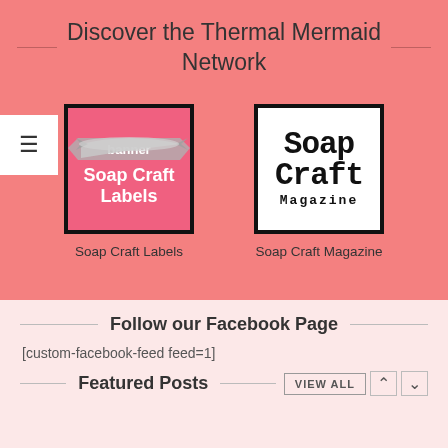Discover the Thermal Mermaid Network
[Figure (logo): Soap Craft Labels logo — pink square with decorative ribbon banner and white bold text 'Soap Craft Labels']
Soap Craft Labels
[Figure (logo): Soap Craft Magazine logo — white square with black border and bold black serif text 'Soap Craft Magazine']
Soap Craft Magazine
Follow our Facebook Page
[custom-facebook-feed feed=1]
Featured Posts